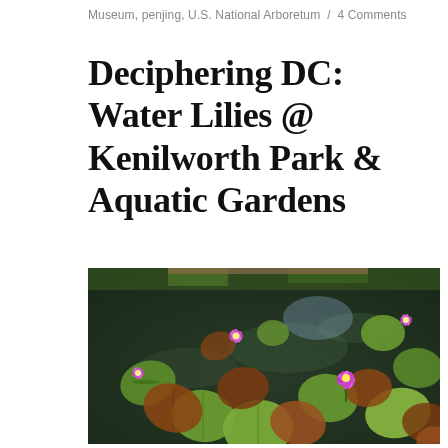Museum, penjing, U.S. National Arboretum / 4 Comments
Deciphering DC: Water Lilies @ Kenilworth Park & Aquatic Gardens
[Figure (photo): A pond with water lily pads of various colors — green, reddish-brown, and yellow-green — floating on dark water. Several purple water lily flowers are blooming among the pads.]